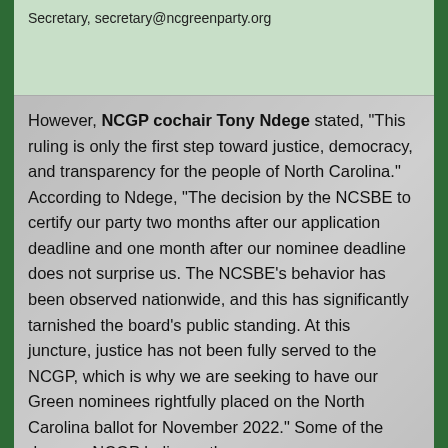Secretary, secretary@ncgreenparty.org
However, NCGP cochair Tony Ndege stated, "This ruling is only the first step toward justice, democracy, and transparency for the people of North Carolina." According to Ndege, "The decision by the NCSBE to certify our party two months after our application deadline and one month after our nominee deadline does not surprise us. The NCSBE's behavior has been observed nationwide, and this has significantly tarnished the board's public standing. At this juncture, justice has not been fully served to the NCGP, which is why we are seeking to have our Green nominees rightfully placed on the North Carolina ballot for November 2022." Some of the damage NCGP believes the